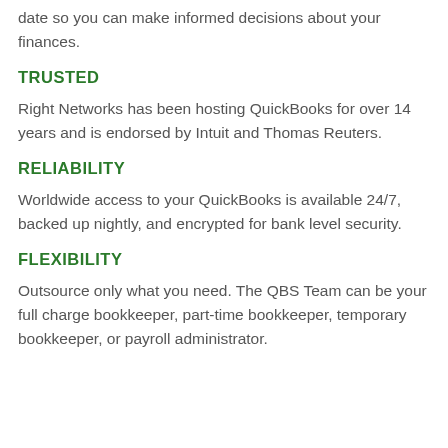date so you can make informed decisions about your finances.
TRUSTED
Right Networks has been hosting QuickBooks for over 14 years and is endorsed by Intuit and Thomas Reuters.
RELIABILITY
Worldwide access to your QuickBooks is available 24/7, backed up nightly, and encrypted for bank level security.
FLEXIBILITY
Outsource only what you need. The QBS Team can be your full charge bookkeeper, part-time bookkeeper, temporary bookkeeper, or payroll administrator.